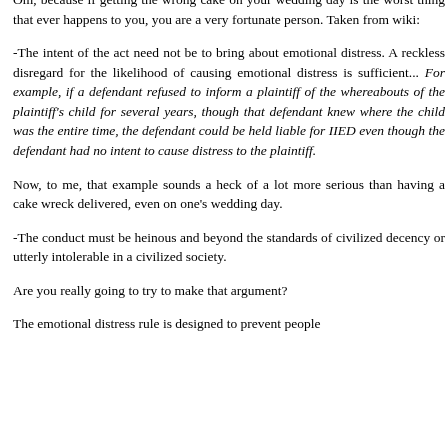Om, because if getting the wrong cake on your wedding day is the worst thing that ever happens to you, you are a very fortunate person. Taken from wiki:
-The intent of the act need not be to bring about emotional distress. A reckless disregard for the likelihood of causing emotional distress is sufficient... For example, if a defendant refused to inform a plaintiff of the whereabouts of the plaintiff's child for several years, though that defendant knew where the child was the entire time, the defendant could be held liable for IIED even though the defendant had no intent to cause distress to the plaintiff.
Now, to me, that example sounds a heck of a lot more serious than having a cake wreck delivered, even on one's wedding day.
-The conduct must be heinous and beyond the standards of civilized decency or utterly intolerable in a civilized society.
Are you really going to try to make that argument?
The emotional distress rule is designed to prevent people